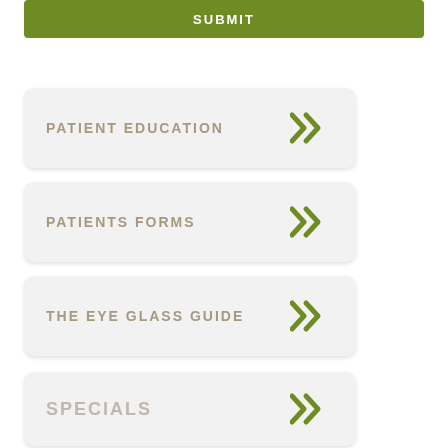SUBMIT
PATIENT EDUCATION >>
PATIENTS FORMS >>
THE EYE GLASS GUIDE >>
SPECIALS >>